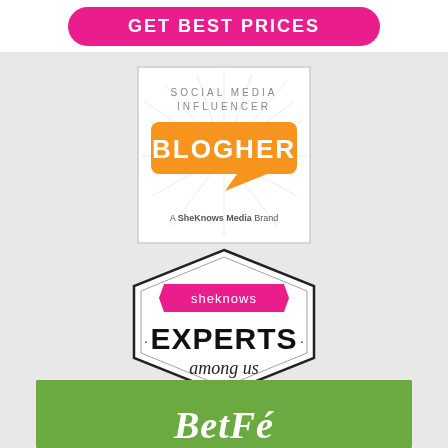[Figure (logo): Pink rounded button with white bold uppercase text 'GET BEST PRICES' on white banner background]
[Figure (logo): BlogHer Social Media Influencer badge by SheKnows Media Brand. White square with gray border, sunburst lines, orange speech bubble with white text 'BLOGHER', spaced grey uppercase text 'SOCIAL MEDIA INFLUENCER' and bottom text 'A SheKnows Media Brand']
[Figure (logo): SheKnows 'Experts among us' badge. Hexagon outline badge with pink ribbon banner at top reading 'sheknows', large bold text 'EXPERTS' with dots, and italic script text 'among us']
[Figure (logo): Green banner at bottom, partially cropped, showing beginning of italic bold white text]